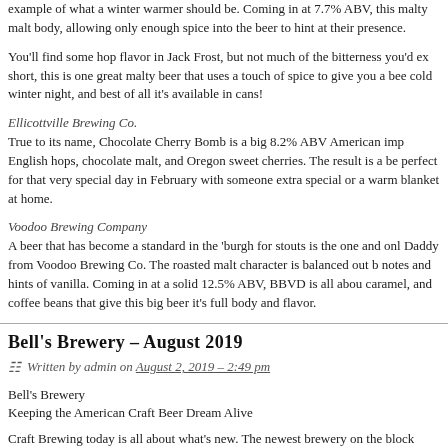example of what a winter warmer should be. Coming in at 7.7% ABV, this malty malt body, allowing only enough spice into the beer to hint at their presence.
You'll find some hop flavor in Jack Frost, but not much of the bitterness you'd ex... short, this is one great malty beer that uses a touch of spice to give you a bee... cold winter night, and best of all it's available in cans!
Ellicottville Brewing Co.
True to its name, Chocolate Cherry Bomb is a big 8.2% ABV American imp... English hops, chocolate malt, and Oregon sweet cherries. The result is a be... perfect for that very special day in February with someone extra special or a... warm blanket at home.
Voodoo Brewing Company
A beer that has become a standard in the 'burgh for stouts is the one and onl... Daddy from Voodoo Brewing Co. The roasted malt character is balanced out b... notes and hints of vanilla. Coming in at a solid 12.5% ABV, BBVD is all abou... caramel, and coffee beans that give this big beer it's full body and flavor.
Bell's Brewery – August 2019
Written by admin on August 2, 2019 – 2:49 pm
Bell's Brewery
Keeping the American Craft Beer Dream Alive
Craft Brewing today is all about what's new. The newest brewery on the block... attention, & while we can't blame anyone for needing to check out the new kid... pioneers of craft beer that are proving the staying power of brewing great beer... that means more than 30 years of makin`g beer that isn't like everything else on... a very good thing.